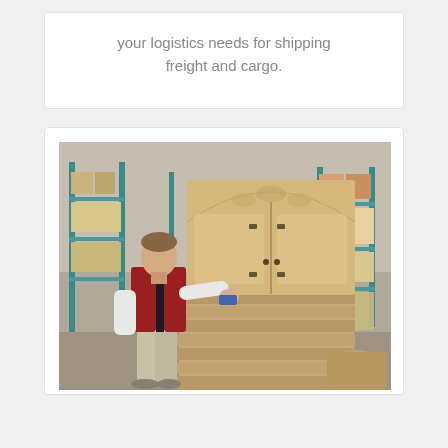your logistics needs for shipping freight and cargo.
[Figure (photo): A warehouse worker in a red and black vest wrapping a large wooden armoire/wardrobe cabinet with protective padding/burlap material. Industrial warehouse shelving with teal/blue metal racks visible in the background stocked with boxes and goods.]